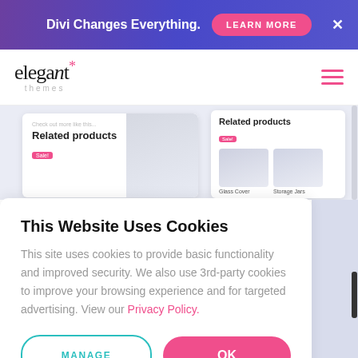Divi Changes Everything. LEARN MORE ×
[Figure (screenshot): Elegant Themes logo with navigation hamburger menu]
[Figure (screenshot): WooCommerce related products section preview showing two product cards with 'Sale!' badges, product images for Glass Cover and Storage Jars]
This Website Uses Cookies
This site uses cookies to provide basic functionality and improved security. We also use 3rd-party cookies to improve your browsing experience and for targeted advertising. View our Privacy Policy.
MANAGE  OK